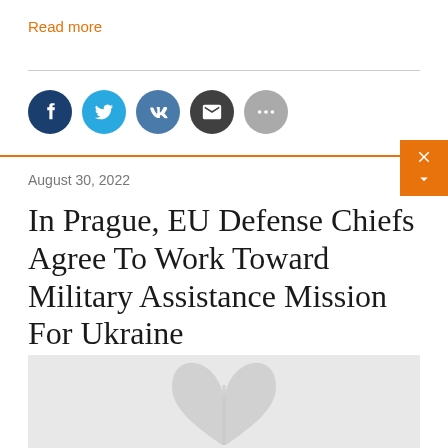Read more
[Figure (infographic): Social media sharing icons: Facebook (dark blue), Twitter (light blue), VK (medium blue), Email (dark gray), More options (gray)]
August 30, 2022
In Prague, EU Defense Chiefs Agree To Work Toward Military Assistance Mission For Ukraine
[Figure (photo): Gray placeholder image with watermark leaf logo]